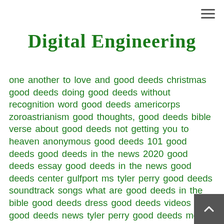Digital Engineering
one another to love and good deeds christmas good deeds doing good deeds without recognition word good deeds americorps zoroastrianism good thoughts, good deeds bible verse about good deeds not getting you to heaven anonymous good deeds 101 good deeds good deeds in the news 2020 good deeds essay good deeds in the news good deeds center gulfport ms tyler perry good deeds soundtrack songs what are good deeds in the bible good deeds dress good deeds videos good deeds news tyler perry good deeds movie obama good deeds good thoughts good words good deeds bohemian rhapsody sims 4 good deeds good deeds bible verses ramadan good deeds calendar bible verse about doing good deeds in secret good deeds lowell ma daily good deeds bible verse about not bragging about good deeds good deeds scholarship what does the bible say about doing good